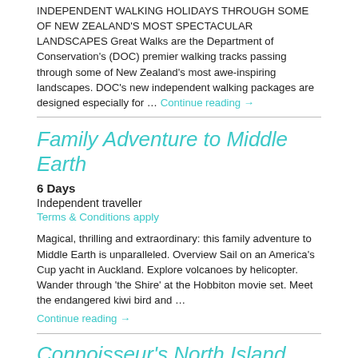INDEPENDENT WALKING HOLIDAYS THROUGH SOME OF NEW ZEALAND'S MOST SPECTACULAR LANDSCAPES Great Walks are the Department of Conservation's (DOC) premier walking tracks passing through some of New Zealand's most awe-inspiring landscapes. DOC's new independent walking packages are designed especially for … Continue reading →
Family Adventure to Middle Earth
6 Days
Independent traveller
Terms & Conditions apply
Magical, thrilling and extraordinary: this family adventure to Middle Earth is unparalleled. Overview Sail on an America's Cup yacht in Auckland. Explore volcanoes by helicopter. Wander through 'the Shire' at the Hobbiton movie set. Meet the endangered kiwi bird and … Continue reading →
Connoisseur's North Island
8 Days